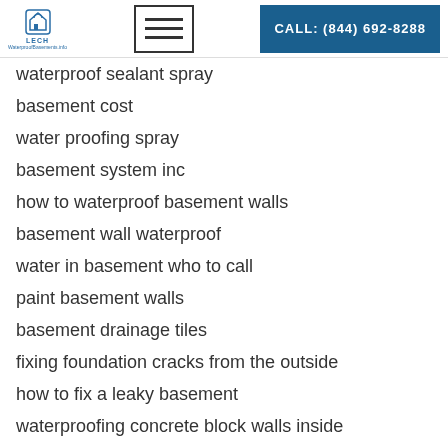LECH | CALL: (844) 692-8288
waterproof sealant spray
basement cost
water proofing spray
basement system inc
how to waterproof basement walls
basement wall waterproof
water in basement who to call
paint basement walls
basement drainage tiles
fixing foundation cracks from the outside
how to fix a leaky basement
waterproofing concrete block walls inside
waterproofing concrete block walls outside
waterproof concrete sealer
fix basement leaks